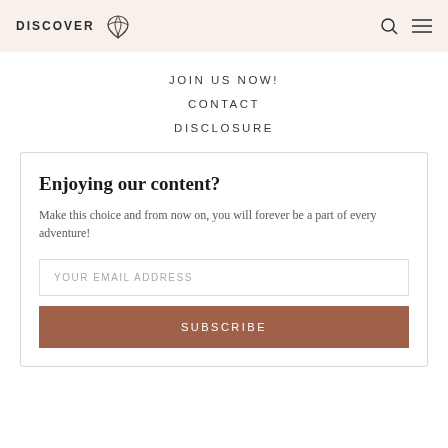DISCOVER
JOIN US NOW!
CONTACT
DISCLOSURE
Enjoying our content?
Make this choice and from now on, you will forever be a part of every adventure!